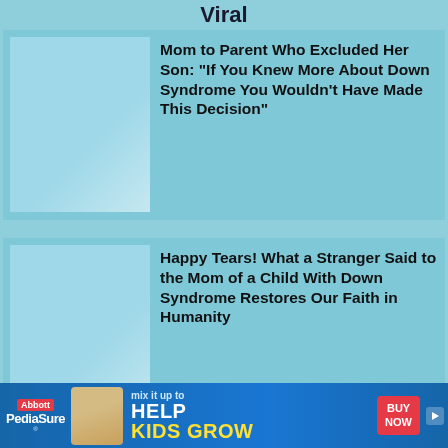Viral
Mom to Parent Who Excluded Her Son: "If You Knew More About Down Syndrome You Wouldn't Have Made This Decision"
Happy Tears! What a Stranger Said to the Mom of a Child With Down Syndrome Restores Our Faith in Humanity
[Figure (other): PediaSure advertisement banner: mix it up to HELP KIDS GROW, BUY NOW button]